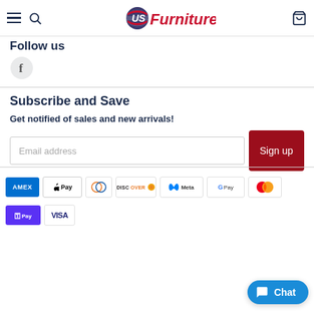US Furniture — navigation header with hamburger menu, search, logo, and cart icon
Follow us
[Figure (logo): Facebook circle icon (f)]
Subscribe and Save
Get notified of sales and new arrivals!
Email address [input field] Sign up [button]
[Figure (other): Payment method badges: AMEX, Apple Pay, Diners Club, Discover, Meta Pay, Google Pay, Mastercard, Shop Pay, Visa]
[Figure (other): Chat button overlay]